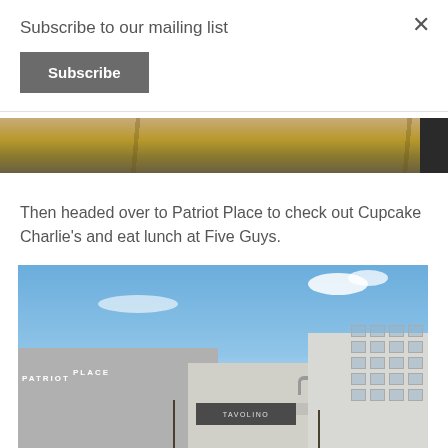Subscribe to our mailing list
Subscribe
[Figure (photo): Partial photo of a cracked asphalt/pavement surface, likely a parking lot, with a dark vehicle edge visible on the right side.]
Then headed over to Patriot Place to check out Cupcake Charlie's and eat lunch at Five Guys.
[Figure (photo): Outdoor photo of Patriot Place shopping complex showing buildings with signage including 'PATRIOT PLACE' and 'TAVOLINO', blue sky with clouds, bare trees, and parking area in the foreground.]